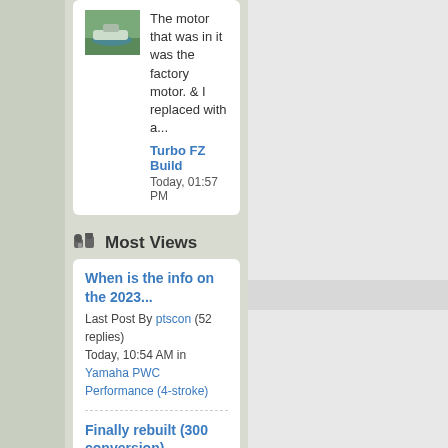The motor that was in it was the factory motor. & I replaced with a...
Turbo FZ Build
Today, 01:57 PM
Most Views
When is the info on the 2023...
Last Post By ptscon (52 replies)
Today, 10:54 AM in Yamaha PWC Performance (4-stroke)
Finally rebuilt (300 conversion)...
Last Post By ptscon (72 replies)
Today, 02:09 PM in 4-Tec Performance
Turbo Project with low boost 18-19...
Last Post By jetplane (72 replies)
Today, 10:52 AM in Sea Doo Build Threads
PWC News
11-03-2005, 12:44 PM
BrAinZ